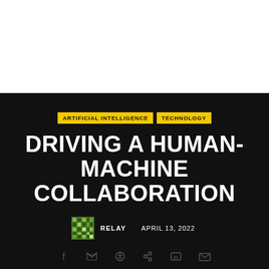[Figure (photo): Top white section representing a hero image area]
ARTIFICIAL INTELLIGENCE   TECHNOLOGY
DRIVING A HUMAN-MACHINE COLLABORATION
RELAY   APRIL 13, 2022
[Figure (other): Social sharing icons row at bottom: Facebook, Twitter, Pinterest, share, LinkedIn, email]